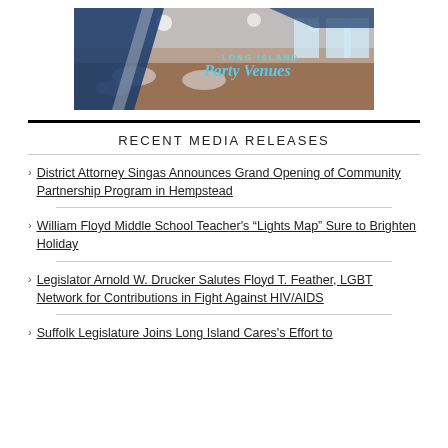[Figure (photo): Long Island Party Venues banner image showing a decorated event hall with tables and chairs, with the text 'LONG ISLAND Party Venues' overlaid in teal script on a blue diagonal frame.]
RECENT MEDIA RELEASES
District Attorney Singas Announces Grand Opening of Community Partnership Program in Hempstead
William Floyd Middle School Teacher's “Lights Map” Sure to Brighten Holiday
Legislator Arnold W. Drucker Salutes Floyd T. Feather, LGBT Network for Contributions in Fight Against HIV/AIDS
Suffolk Legislature Joins Long Island Cares's Effort to